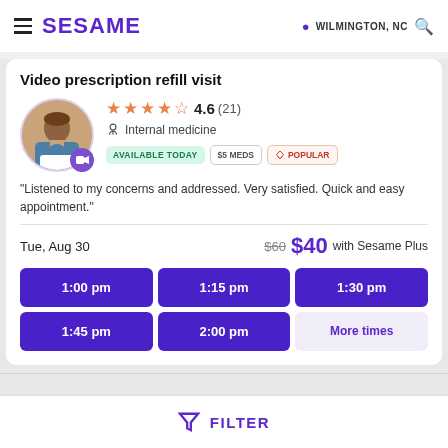SESAME — WILMINGTON, NC
Video prescription refill visit
★★★★☆ 4.6 (21) | Internal medicine | AVAILABLE TODAY | $5 MEDS | POPULAR
"Listened to my concerns and addressed. Very satisfied. Quick and easy appointment."
Tue, Aug 30 — $60 $40 with Sesame Plus
1:00 pm | 1:15 pm | 1:30 pm | 1:45 pm | 2:00 pm | More times
FILTER